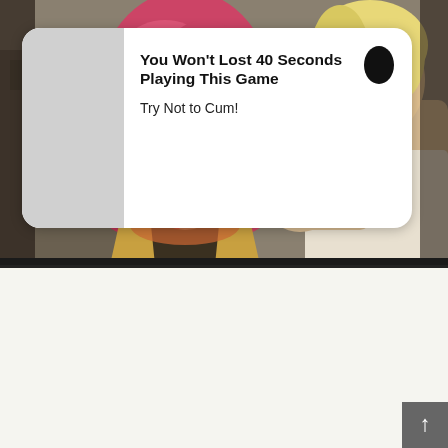[Figure (illustration): Manga/webtoon page. Top panel shows two anime characters: a pink-haired girl with wide surprised eyes and open mouth, and a blonde male character leaning close to her, with a cityscape/bookshelf background. An advertisement overlay card sits on top with a gray placeholder image on the left, bold ad title text, and a black oval dot in top right corner. Bottom panel is white with a large oval speech bubble containing dialogue text.]
You Won't Lost 40 Seconds Playing This Game
Try Not to Cum!
THEY'RE ICEBERGS. THE POLAR REGIONS ARE STARTING TO HAVE ICEBERGS.